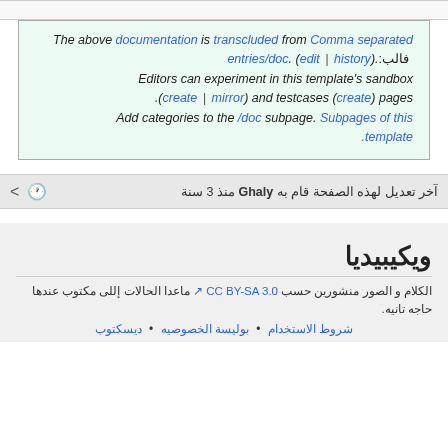The above documentation is transcluded from Comma separated entries/doc. (edit | history).فالب: Editors can experiment in this template's sandbox (create | mirror) and testcases (create) pages. Add categories to the /doc subpage. Subpages of this template.
آخر تعديل لهذه الصفحة قام به Ghaly منذ 3 سنة
ويكيبيديا
الكلام و الصور منشورين حسب CC BY-SA 3.0 ماعدا الحالات إللى مكتوب عندها حاجه تانيه.
شروط الاستخدام • بوليسة الخصوصيه • ديسكتوب